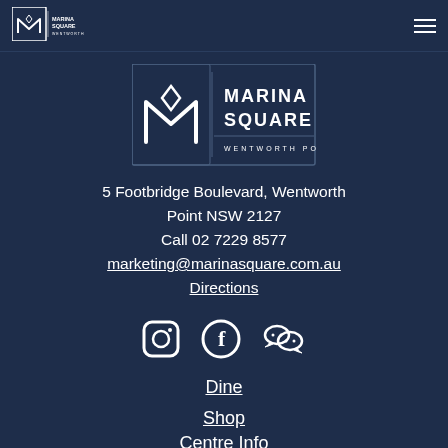[Figure (logo): Marina Square Wentworth Point small logo in top navigation bar]
[Figure (logo): Marina Square Wentworth Point large centered logo with M icon and text]
5 Footbridge Boulevard, Wentworth Point NSW 2127
Call 02 7229 8577
marketing@marinasquare.com.au
Directions
[Figure (illustration): Social media icons: Instagram, Facebook, WeChat]
Dine
Shop
Centre Info